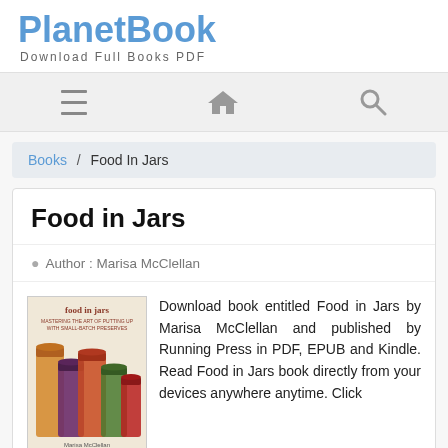PlanetBook
Download Full Books PDF
[Figure (screenshot): Navigation bar with hamburger menu, home icon, and search icon]
Books / Food In Jars
Food in Jars
Author : Marisa McClellan
[Figure (photo): Book cover of Food in Jars by Marisa McClellan showing canning jars with preserved foods]
Download book entitled Food in Jars by Marisa McClellan and published by Running Press in PDF, EPUB and Kindle. Read Food in Jars book directly from your devices anywhere anytime. Click